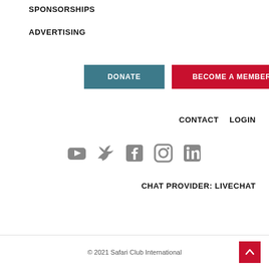SPONSORSHIPS
ADVERTISING
DONATE
BECOME A MEMBER
CONTACT   LOGIN
[Figure (infographic): Social media icons: YouTube, Twitter, Facebook, Instagram, LinkedIn]
CHAT PROVIDER: LIVECHAT
© 2021 Safari Club International